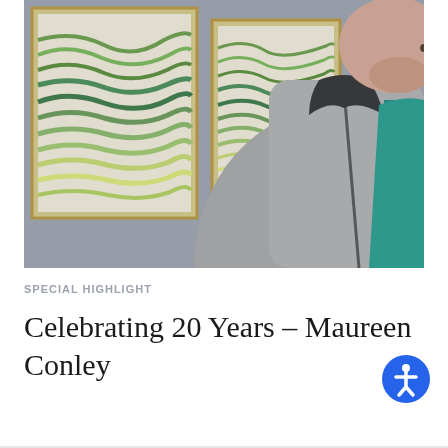[Figure (photo): A woman wearing a gray zip-up jacket over a teal v-neck shirt, photographed from chest up. Behind her are two framed artworks with wavy green and teal layered patterns hanging on a gray wall.]
SPECIAL HIGHLIGHT
Celebrating 20 Years – Maureen Conley